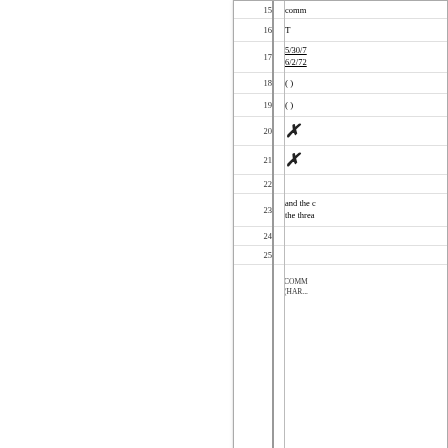| Line | Content |
| --- | --- |
| 15 | comm... |
| 16 | T |
| 17 | 5/30/7...
6/2/72... |
| 18 | ( ) |
| 19 | ( ) |
| 20 | ✗ |
| 21 | ✗ |
| 22 |  |
| 23 | and the c...
the threa... |
| 24 |  |
| 25 |  |
COMM...
(HAR...
Since Ms. Laughlin... Prosecutor. The p... firm where Pennin...
In 2009 when Pen... should have amo...
A close review of J...